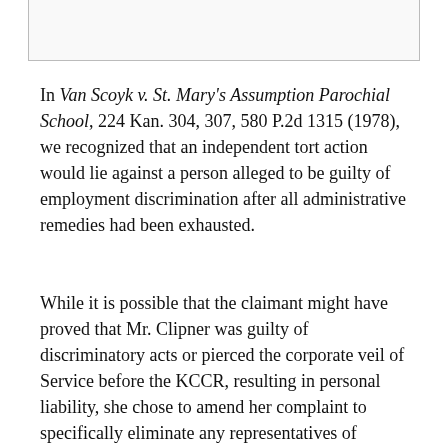In Van Scoyk v. St. Mary's Assumption Parochial School, 224 Kan. 304, 307, 580 P.2d 1315 (1978), we recognized that an independent tort action would lie against a person alleged to be guilty of employment discrimination after all administrative remedies had been exhausted.
While it is possible that the claimant might have proved that Mr. Clipner was guilty of discriminatory acts or pierced the corporate veil of Service before the KCCR, resulting in personal liability, she chose to amend her complaint to specifically eliminate any representatives of Service. Having done so she can not now attempt to assert liability against Mr. Clipner in this collection proceeding. Assuming that Service could be shown